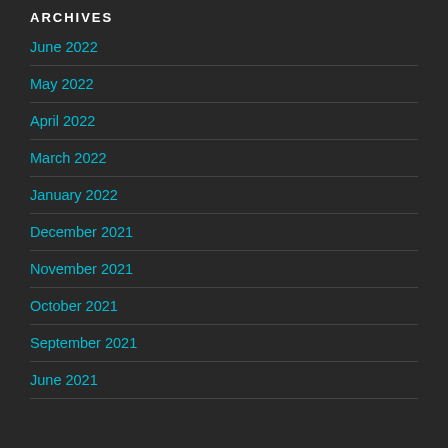ARCHIVES
June 2022
May 2022
April 2022
March 2022
January 2022
December 2021
November 2021
October 2021
September 2021
June 2021